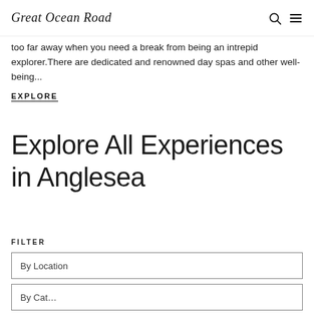Great Ocean Road
too far away when you need a break from being an intrepid explorer. There are dedicated and renowned day spas and other well-being...
EXPLORE
Explore All Experiences in Anglesea
FILTER
By Location
By Cat...